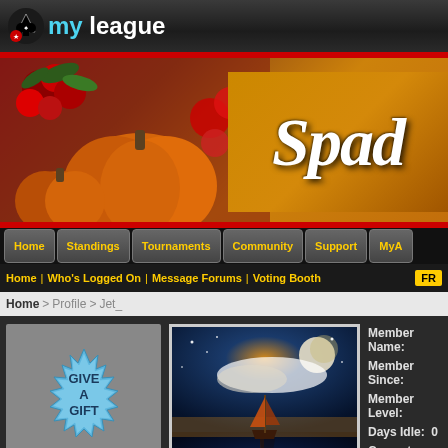[Figure (logo): MyLeague logo with spade card suit icon and 'my league' text in white/blue on dark background]
[Figure (illustration): Autumn themed banner with pumpkins, red berries, and 'Spades' text on gold leaf background]
Home | Standings | Tournaments | Community | Support | MyA
Home | Who's Logged On | Message Forums | Voting Booth | FR
Home > Profile > Jet_
[Figure (illustration): Give A Gift badge - blue starburst shape with text 'Give A Gift' and 'to Jet_' below]
[Figure (photo): Profile photo: sailboat on still water under dramatic sunset sky with moon and stars]
Member Name:
Member Since:
Member Level:
Days Idle: 0
Current Rank:
LadderBux: 28